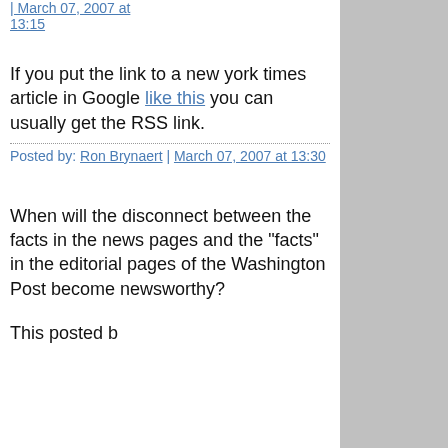| March 07, 2007 at 13:15
If you put the link to a new york times article in Google like this you can usually get the RSS link.
Posted by: Ron Brynaert | March 07, 2007 at 13:30
When will the disconnect between the facts in the news pages and the "facts" in the editorial pages of the Washington Post become newsworthy?
This posted b...